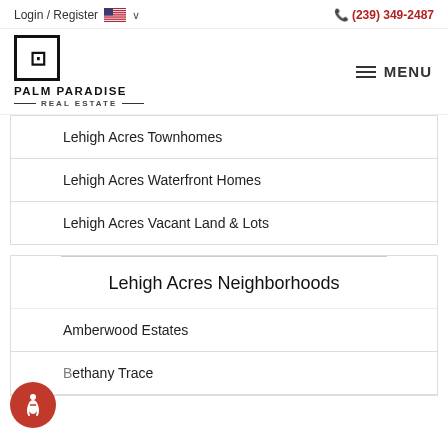Login / Register  🇺🇸 ∨   (239) 349-2487
[Figure (logo): Palm Paradise Real Estate logo with stylized P inside a square border, and text PALM PARADISE REAL ESTATE]
Lehigh Acres Townhomes
Lehigh Acres Waterfront Homes
Lehigh Acres Vacant Land & Lots
Lehigh Acres Neighborhoods
Amberwood Estates
Bethany Trace